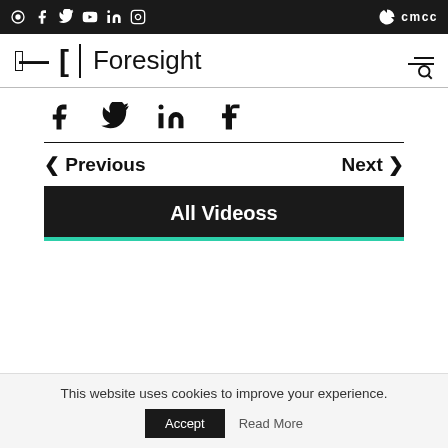Social media icons (podcast, facebook, twitter, youtube, linkedin, instagram) | CMCC logo
[Figure (logo): Foresight logo with F bracket icon and wordmark, plus hamburger/search nav icon]
[Figure (infographic): Social share icons: Facebook, Twitter, LinkedIn, Tumblr]
< Previous   Next >
All Videoss
This website uses cookies to improve your experience.
Accept   Read More